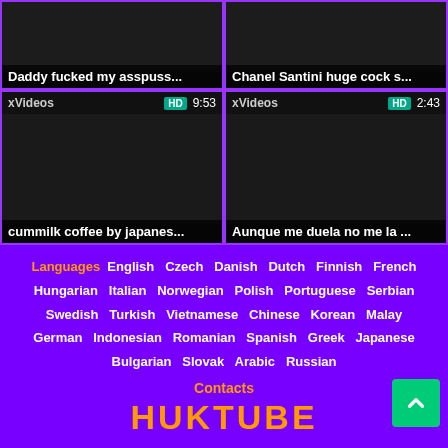[Figure (screenshot): Video thumbnail top-left: black image with title 'Daddy fucked my asspuss...']
Daddy fucked my asspuss...
[Figure (screenshot): Video thumbnail top-right: black image with title 'Chanel Santini huge cock s...']
Chanel Santini huge cock s...
[Figure (screenshot): Video thumbnail bottom-left: xVideos HD 9:53, black, title 'cummilk coffee by japanes...']
cummilk coffee by japanes...
[Figure (screenshot): Video thumbnail bottom-right: xVideos HD 2:43, black, title 'Aunque me duela no me la ...']
Aunque me duela no me la ...
Languages  English  Czech  Danish  Dutch  Finnish  French  Hungarian  Italian  Norwegian  Polish  Portuguese  Serbian  Swedish  Turkish  Vietnamese  Chinese  Korean  Malay  German  Indonesian  Romanian  Spanish  Greek  Japanese  Bulgarian  Slovak  Arabic  Russian
Contacts
HUKTUBE